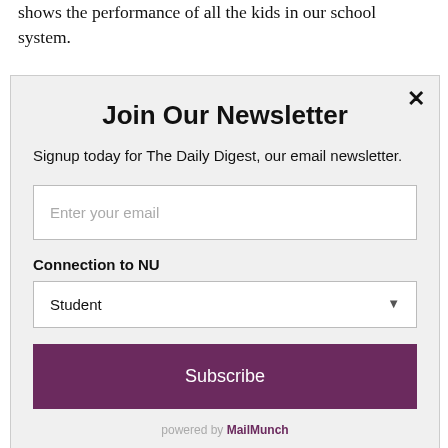shows the performance of all the kids in our school system.
The question, however, is whether or not ISATs are an accurate way to measure college and career readiness. Terry
Join Our Newsletter
Signup today for The Daily Digest, our email newsletter.
Enter your email
Connection to NU
Student
Subscribe
powered by MailMunch